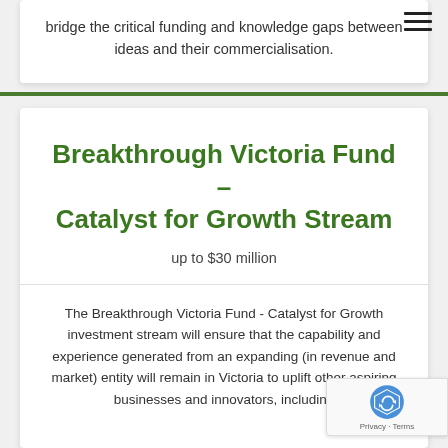[Figure (other): Hamburger menu icon (three horizontal lines) in top right corner]
bridge the critical funding and knowledge gaps between ideas and their commercialisation.
Breakthrough Victoria Fund – Catalyst for Growth Stream
up to $30 million
The Breakthrough Victoria Fund - Catalyst for Growth investment stream will ensure that the capability and experience generated from an expanding (in revenue and market) entity will remain in Victoria to uplift other aspiring businesses and innovators, including